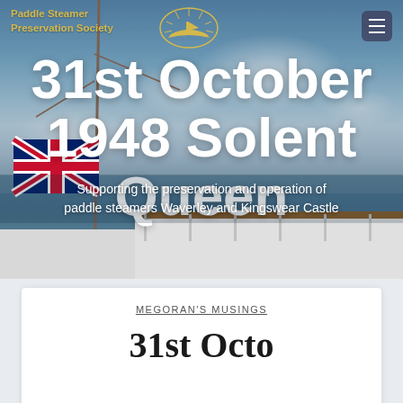[Figure (photo): Hero banner image of a paddle steamer deck with mast, Union Jack flag flying, blue sky with clouds, and sea in the background]
Paddle Steamer Preservation Society
31st October 1948 Solent Queen
Supporting the preservation and operation of paddle steamers Waverley and Kingswear Castle
MEGORAN'S MUSINGS
31st Octo...